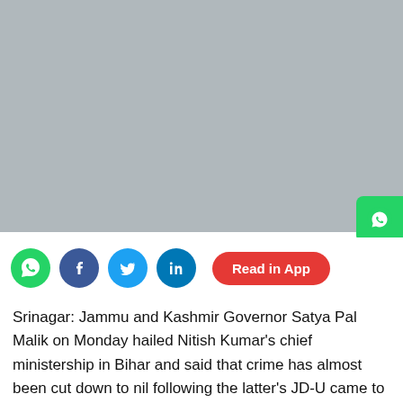[Figure (photo): Gray placeholder image for news article photo]
[Figure (infographic): Social media sharing bar with WhatsApp, Facebook, Twitter, LinkedIn icons and Read in App button]
Srinagar: Jammu and Kashmir Governor Satya Pal Malik on Monday hailed Nitish Kumar's chief ministership in Bihar and said that crime has almost been cut down to nil following the latter's JD-U came to power.